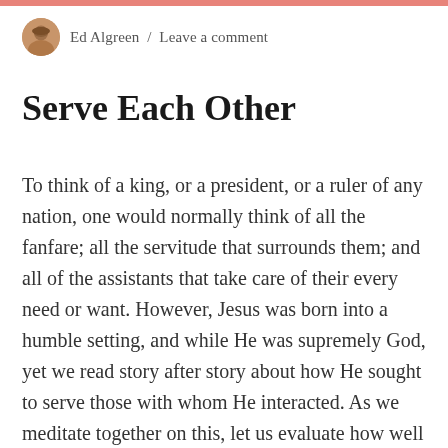Ed Algreen / Leave a comment
Serve Each Other
To think of a king, or a president, or a ruler of any nation, one would normally think of all the fanfare; all the servitude that surrounds them; and all of the assistants that take care of their every need or want. However, Jesus was born into a humble setting, and while He was supremely God, yet we read story after story about how He sought to serve those with whom He interacted. As we meditate together on this, let us evaluate how well we are following...